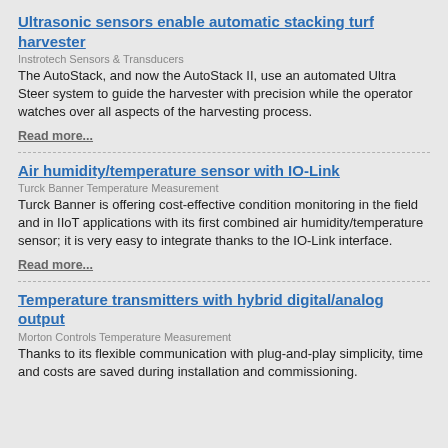Ultrasonic sensors enable automatic stacking turf harvester
Instrotech Sensors & Transducers
The AutoStack, and now the AutoStack II, use an automated Ultra Steer system to guide the harvester with precision while the operator watches over all aspects of the harvesting process.
Read more...
Air humidity/temperature sensor with IO-Link
Turck Banner Temperature Measurement
Turck Banner is offering cost-effective condition monitoring in the field and in IIoT applications with its first combined air humidity/temperature sensor; it is very easy to integrate thanks to the IO-Link interface.
Read more...
Temperature transmitters with hybrid digital/analog output
Morton Controls Temperature Measurement
Thanks to its flexible communication with plug-and-play simplicity, time and costs are saved during installation and commissioning.